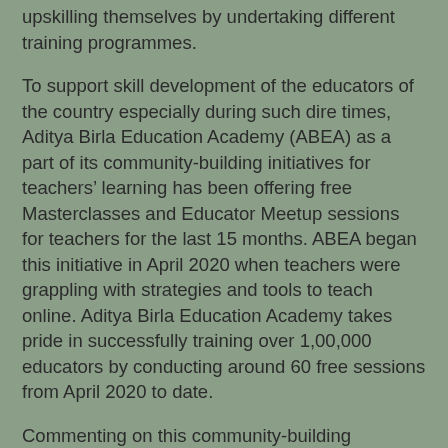upskilling themselves by undertaking different training programmes.
To support skill development of the educators of the country especially during such dire times, Aditya Birla Education Academy (ABEA) as a part of its community-building initiatives for teachers' learning has been offering free Masterclasses and Educator Meetup sessions for teachers for the last 15 months. ABEA began this initiative in April 2020 when teachers were grappling with strategies and tools to teach online. Aditya Birla Education Academy takes pride in successfully training over 1,00,000 educators by conducting around 60 free sessions from April 2020 to date.
Commenting on this community-building initiative, Mrs Neerja Birla, Founder, and Chairperson, Aditya Birla Education Trust said, “Last year, as the education sector grappled with the impact of the pandemic, we realised that skill development is an important area of focus. This led us to introduce free training programmes for educators across India. Through this initiative, we aim to fast-track the professional growth of educators and impart new-age skillsets required to conduct classes virtually, staying true to